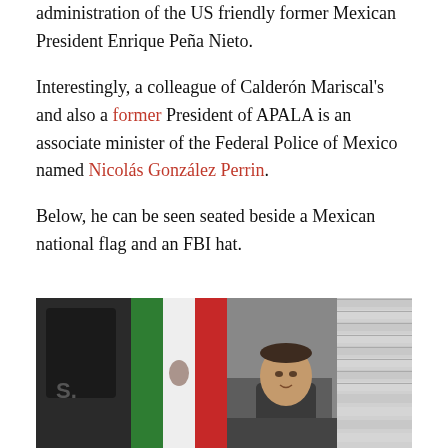administration of the US friendly former Mexican President Enrique Peña Nieto.
Interestingly, a colleague of Calderón Mariscal's and also a former President of APALA is an associate minister of the Federal Police of Mexico named Nicolás González Perrin.
Below, he can be seen seated beside a Mexican national flag and an FBI hat.
[Figure (photo): A man seated at a desk beside a Mexican national flag and an FBI hat, in an office with window blinds visible in the background.]